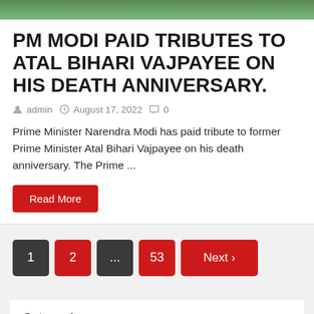[Figure (photo): Green banner/header image at the top of the page]
PM MODI PAID TRIBUTES TO ATAL BIHARI VAJPAYEE ON HIS DEATH ANNIVERSARY.
admin  August 17, 2022  0
Prime Minister Narendra Modi has paid tribute to former Prime Minister Atal Bihari Vajpayee on his death anniversary. The Prime ...
Read More
1  2  ...  53  Next ›
Categories